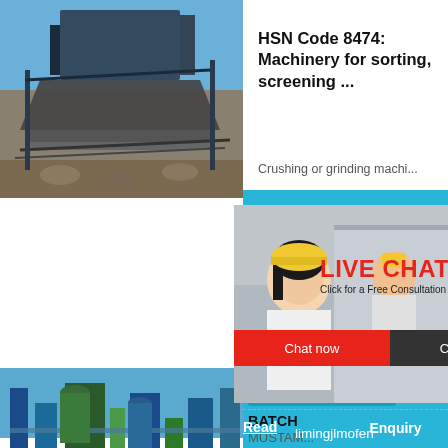[Figure (photo): Industrial crushing/screening machinery outdoors, conveyor belt visible, blue sky background]
HSN Code 8474: Machinery for sorting, screening ...
Crushing or grinding machi...
[Figure (photo): Live chat overlay with three workers wearing yellow hard hats, smiling woman in foreground in white shirt]
LIVE CHAT
Click for a Free Consultation
Chat now
Chat later
[Figure (photo): Large industrial plant with blue metal structures, pipes, and silos against blue sky]
hour online
[Figure (photo): Industrial jaw crusher machine, gray with red flywheel]
Click me to chat>>
CONC
MCMIX
BATCH
MUSTAM
Enquiry
Read
limingjlmofen